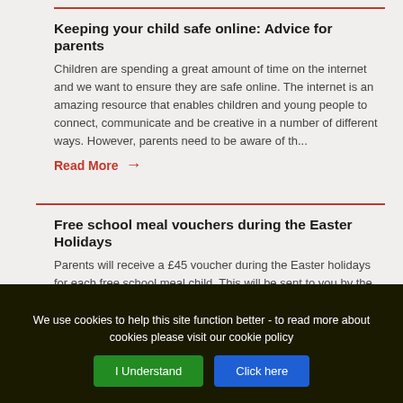Keeping your child safe online: Advice for parents
Children are spending a great amount of time on the internet and we want to ensure they are safe online. The internet is an amazing resource that enables children and young people to connect, communicate and be creative in a number of different ways. However, parents need to be aware of th...
Read More →
Free school meal vouchers during the Easter Holidays
Parents will receive a £45 voucher during the Easter holidays for each free school meal child.  This will be sent to you by the school.  The vouchers must be redeemed by the 8th of April.
Read More →
We use cookies to help this site function better - to read more about cookies please visit our cookie policy